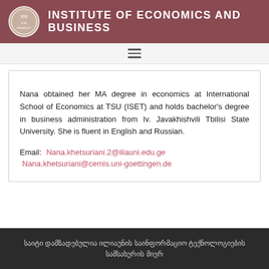INSTITUTE OF ECONOMICS AND BUSINESS
Nana obtained her MA degree in economics at International School of Economics at TSU (ISET) and holds bachelor's degree in business administration from Iv. Javakhishvili Tbilisi State University. She is fluent in English and Russian.

Email: Nana.khetsuriani.2@iliauni.edu.ge Nana.khetsuriani@cemis.uni-goettingen.de
საიტი დამზადებულია ილიაუნის საინფორმაციო ტექნოლოგიების სამსახურის მიერ